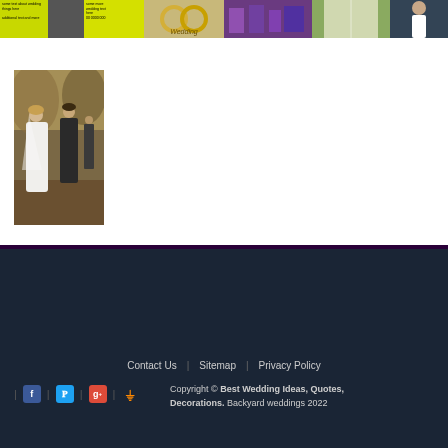[Figure (photo): Row of thumbnail images at the top: yellow-background text cards, wedding rings, purple store interior, floral aisle, woman in dress]
[Figure (photo): Wedding ceremony photo - bride in white dress and groom standing outdoors in wooded area with officiant]
Contact Us   Sitemap   Privacy Policy
Copyright © Best Wedding Ideas, Quotes, Decorations. Backyard weddings 2022